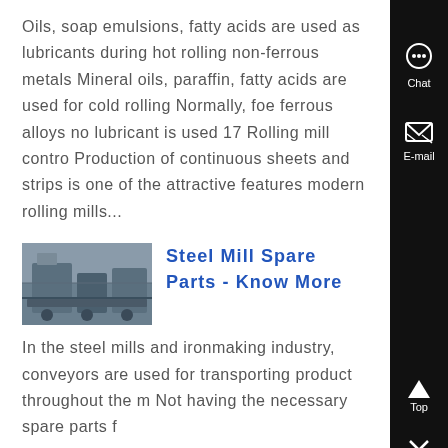Oils, soap emulsions, fatty acids are used as lubricants during hot rolling non-ferrous metals Mineral oils, paraffin, fatty acids are used for cold rolling Normally, foe ferrous alloys no lubricant is used 17 Rolling mill contro Production of continuous sheets and strips is one of the attractive features modern rolling mills...
[Figure (photo): Thumbnail photo of industrial steel mill equipment/machinery in a factory setting]
Steel Mill Spare Parts - Know More
In the steel mills and ironmaking industry, conveyors are used for transporting product throughout the m Not having the necessary spare parts f